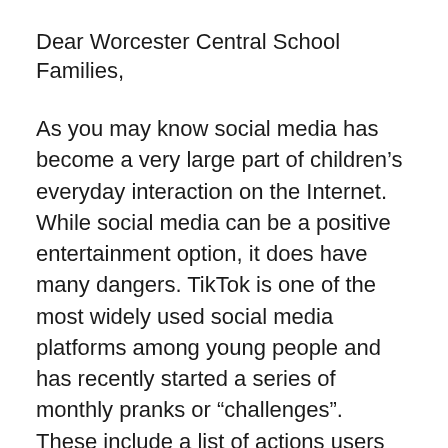Dear Worcester Central School Families,
As you may know social media has become a very large part of children’s everyday interaction on the Internet.  While social media can be a positive entertainment option, it does have many dangers. TikTok is one of the most widely used social media platforms among young people and has recently started a series of monthly pranks or “challenges”. These include a list of actions users are being encouraged to participate in and record that are dangerous, inappropriate, and/or illegal.
In September the TikTok challenge was to